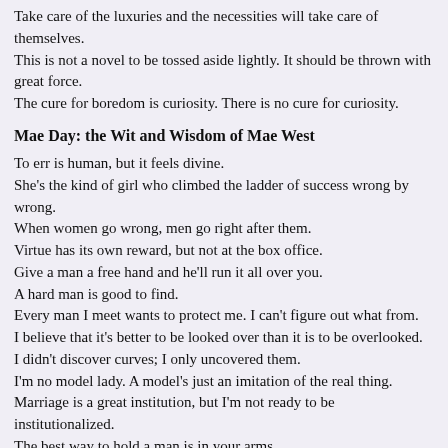Take care of the luxuries and the necessities will take care of themselves.
This is not a novel to be tossed aside lightly. It should be thrown with great force.
The cure for boredom is curiosity. There is no cure for curiosity.
Mae Day: the Wit and Wisdom of Mae West
To err is human, but it feels divine.
She's the kind of girl who climbed the ladder of success wrong by wrong.
When women go wrong, men go right after them.
Virtue has its own reward, but not at the box office.
Give a man a free hand and he'll run it all over you.
A hard man is good to find.
Every man I meet wants to protect me. I can't figure out what from.
I believe that it's better to be looked over than it is to be overlooked.
I didn't discover curves; I only uncovered them.
I'm no model lady. A model's just an imitation of the real thing.
Marriage is a great institution, but I'm not ready to be institutionalized.
The best way to hold a man is in your arms.
The score never interested me, only the game.
Those who are easily shocked should be shocked more often.
When a man is in love he ought to be...